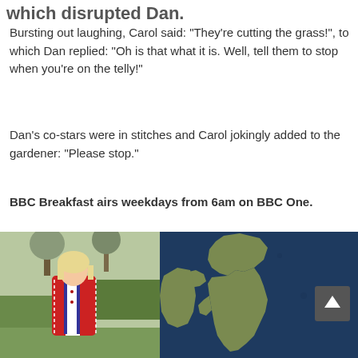which disrupted Dan.
Bursting out laughing, Carol said: "They're cutting the grass!", to which Dan replied: "Oh is that what it is. Well, tell them to stop when you're on the telly!"
Dan's co-stars were in stitches and Carol jokingly added to the gardener: "Please stop."
BBC Breakfast airs weekdays from 6am on BBC One.
[Figure (photo): Left: Woman with blonde hair wearing red jacket standing outdoors in a park with bare trees. Right: Weather map of UK and surrounding seas shown in dark blue/navy color with UK landmass in olive green.]